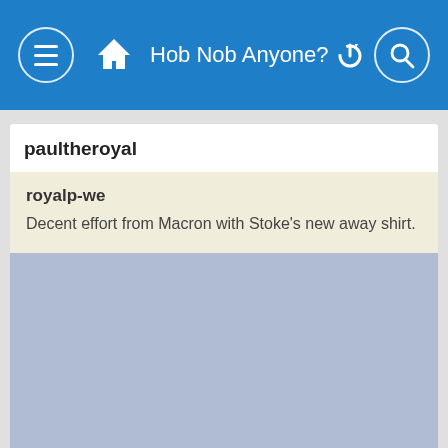Hob Nob Anyone?
paultheroyal
royalp-we
Decent effort from Macron with Stoke's new away shirt.
[Figure (photo): Blue-grey image placeholder area below the comment block]